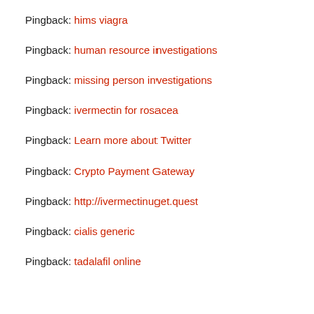Pingback: hims viagra
Pingback: human resource investigations
Pingback: missing person investigations
Pingback: ivermectin for rosacea
Pingback: Learn more about Twitter
Pingback: Crypto Payment Gateway
Pingback: http://ivermectinuget.quest
Pingback: cialis generic
Pingback: tadalafil online